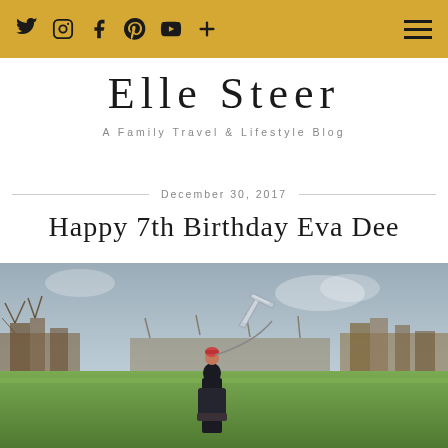Navigation bar with social icons: Twitter, Instagram, Facebook, Pinterest, YouTube, Plus; hamburger menu
Elle Steer
A Family Travel & Lifestyle Blog
December 30, 2017
Happy 7th Birthday Eva Dee
[Figure (photo): Child standing in an open park field holding a silver number 7 balloon, surrounded by bare winter trees and an overcast sky]